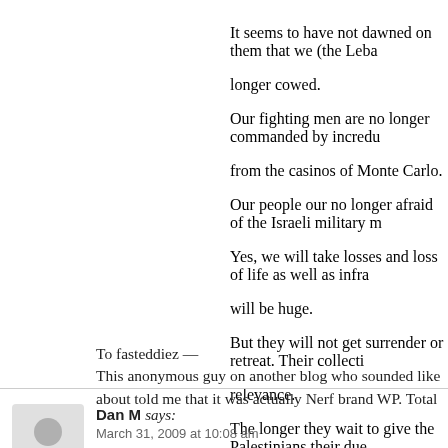It seems to have not dawned on them that we (the Leba longer cowed. Our fighting men are no longer commanded by incredu from the casinos of Monte Carlo. Our people our no longer afraid of the Israeli military m Yes, we will take losses and loss of life as well as infra will be huge. But they will not get surrender or retreat. Their collecti relevance. The longer they wait to give the Palestinians their due,
Dan M says:
March 31, 2009 at 10:08 am

To fasteddiez —
This anonymous guy on another blog who sounded like about told me that it was actually Nerf brand WP. Total